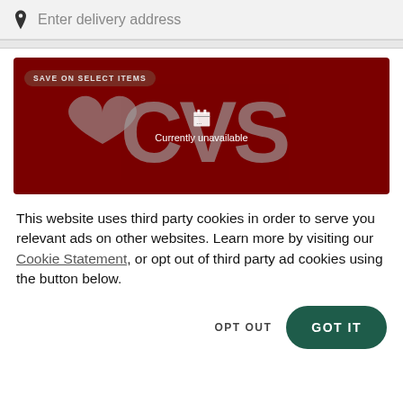Enter delivery address
[Figure (screenshot): CVS pharmacy promotional banner on dark red background with heart-CVS logo, a 'Save on Select Items' badge, and a 'Currently unavailable' overlay with a broken image icon]
This website uses third party cookies in order to serve you relevant ads on other websites. Learn more by visiting our Cookie Statement, or opt out of third party ad cookies using the button below.
OPT OUT
GOT IT